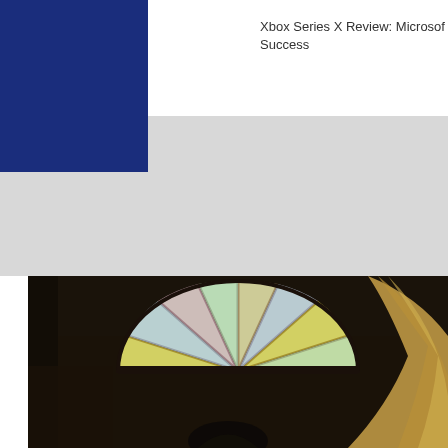Xbox Series X Review: Microsoft Success
[Figure (photo): Blurred photo showing a person with blonde hair in front of a stained glass rose window in a dark interior, possibly a church or cathedral.]